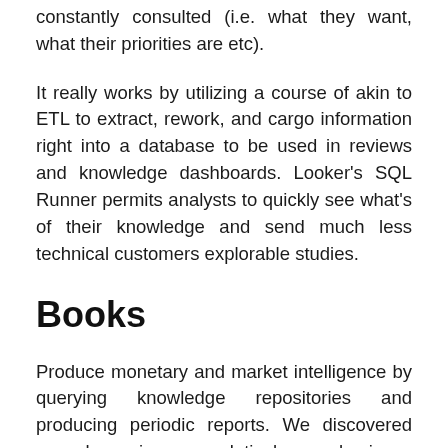constantly consulted (i.e. what they want, what their priorities are etc).
It really works by utilizing a course of akin to ETL to extract, rework, and cargo information right into a database to be used in reviews and knowledge dashboards. Looker's SQL Runner permits analysts to quickly see what's of their knowledge and send much less technical customers explorable studies.
Books
Produce monetary and market intelligence by querying knowledge repositories and producing periodic reports. We discovered one clear winner, a relatively new business intelligence software, known as BDA which stands for Enterprise-Data-